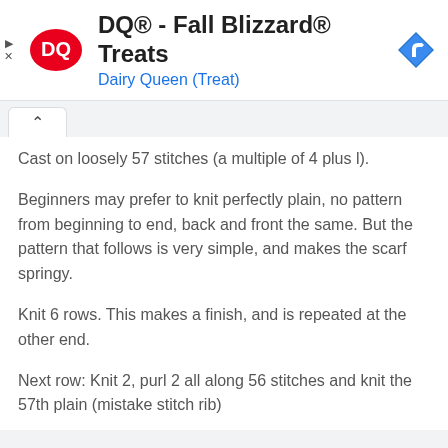[Figure (logo): DQ Dairy Queen ad banner with DQ logo on left, title 'DQ® - Fall Blizzard® Treats', subtitle 'Dairy Queen (Treat)', and a blue navigation/turn arrow icon on the right. Small play and close (X) icons on the far left.]
Cast on loosely 57 stitches (a multiple of 4 plus l).
Beginners may prefer to knit perfectly plain, no pattern from beginning to end, back and front the same. But the pattern that follows is very simple, and makes the scarf springy.
Knit 6 rows. This makes a finish, and is repeated at the other end.
Next row: Knit 2, purl 2 all along 56 stitches and knit the 57th plain (mistake stitch rib)